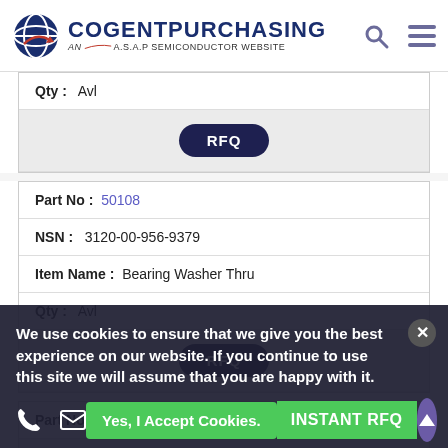[Figure (logo): CogentPurchasing logo - AN A.S.A.P Semiconductor Website]
| Qty : | Avl |
| RFQ |  |
| Part No : | 50108 |
| NSN : | 3120-00-956-9379 |
| Item Name : | Bearing Washer Thru |
| Qty : | Avl |
| RFQ |  |
| Part No : | 51069 |
| NSN : | 3120-00-956-9869 |
We use cookies to ensure that we give you the best experience on our website. If you continue to use this site we will assume that you are happy with it.
Yes, I Accept Cookies.
INSTANT RFQ